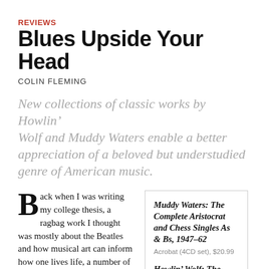REVIEWS
Blues Upside Your Head
COLIN FLEMING
New collections of classic works by Howlin’ Wolf and Muddy Waters enable a better appreciation of a beloved but understudied genre of American music.
Back when I was writing my college thesis, a ragbag work I thought was mostly about the Beatles and how musical art can inform how one lives life, a number of blues luminaries—Robert Johnson, Son House
Muddy Waters: The Complete Aristocrat and Chess Singles As & Bs, 1947–62
Acrobat (4CD set), $20.99

Howlin’ Wolf: The Complete RPM & Chess Singles As & Bs, 1951–62
Acrobat (3CD set), $17.99